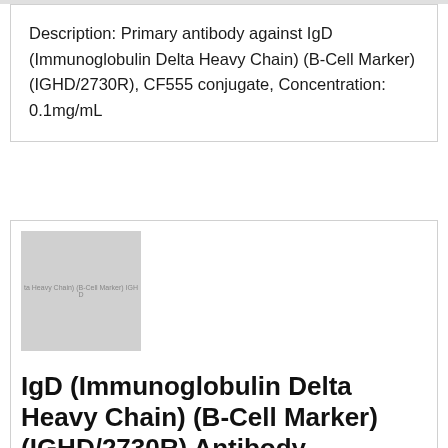Description: Primary antibody against IgD (Immunoglobulin Delta Heavy Chain) (B-Cell Marker) (IGHD/2730R), CF555 conjugate, Concentration: 0.1mg/mL
[Figure (photo): Thumbnail product image showing IgD (Immunoglobulin Delta Heavy Chain) (B-Cell Marker) (IGHD) antibody product, gray placeholder image with text overlay]
IgD (Immunoglobulin Delta Heavy Chain) (B-Cell Marker) (IGHD/2730R) Antibody